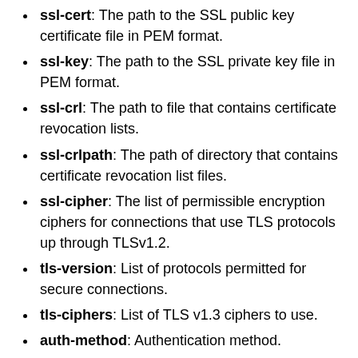ssl-cert: The path to the SSL public key certificate file in PEM format.
ssl-key: The path to the SSL private key file in PEM format.
ssl-crl: The path to file that contains certificate revocation lists.
ssl-crlpath: The path of directory that contains certificate revocation list files.
ssl-cipher: The list of permissible encryption ciphers for connections that use TLS protocols up through TLSv1.2.
tls-version: List of protocols permitted for secure connections.
tls-ciphers: List of TLS v1.3 ciphers to use.
auth-method: Authentication method.
get-server-public-key: Request public key from the server required for RSA key pair-based password exchange. Use when connecting to MySQL 8.0 servers with classic MySQL sessions with SSL mode DISABLED.
server-public-key-path: The path name to a file containing a client-side copy of the public key required by the server for RSA key pair-based password exchange. Use when connecting to MySQL 8.0 servers with classic MySQL